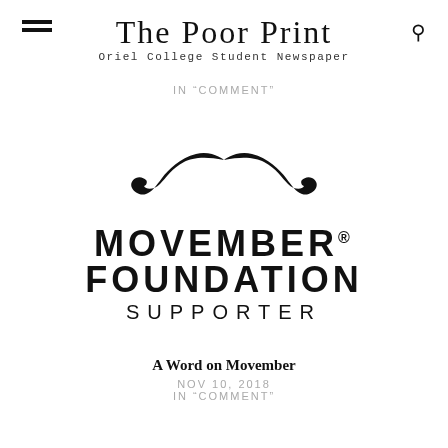The Poor Print
Oriel College Student Newspaper
IN "COMMENT"
[Figure (logo): Movember Foundation Supporter logo: a large mustache icon above bold text reading MOVEMBER FOUNDATION SUPPORTER]
A Word on Movember
NOV 10, 2018
IN "COMMENT"